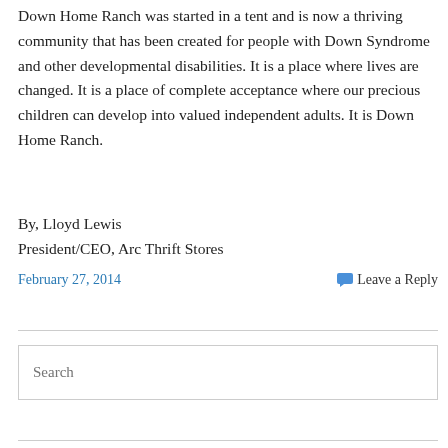Down Home Ranch was started in a tent and is now a thriving community that has been created for people with Down Syndrome and other developmental disabilities. It is a place where lives are changed. It is a place of complete acceptance where our precious children can develop into valued independent adults. It is Down Home Ranch.
By, Lloyd Lewis
President/CEO, Arc Thrift Stores
February 27, 2014
Leave a Reply